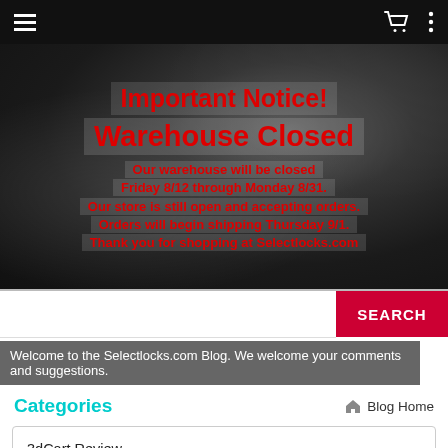Navigation bar with hamburger menu, cart icon, and dots menu
[Figure (screenshot): Dark stormy sky hero banner background image]
Important Notice!
Warehouse Closed
Our warehouse will be closed Friday 8/12 through Monday 8/31. Our store is still open and accepting orders. Orders will begin shipping Thursday 9/1. Thank you for shopping at Selectlocks.com
Welcome to the Selectlocks.com Blog. We welcome your comments and suggestions.
Categories
Blog Home
3dCart Review
Recent Posts
Mobile Friendly